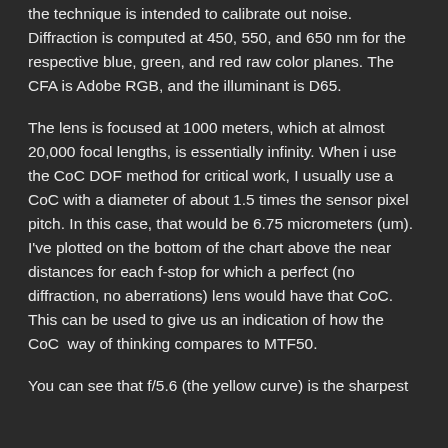the technique is intended to calibrate out noise. Diffraction is computed at 450, 550, and 650 nm for the respective blue, green, and red raw color planes. The CFA is Adobe RGB, and the illuminant is D65.
The lens is focused at 1000 meters, which at almost 20,000 focal lengths, is essentially infinity. When i use the CoC DOF method for critical work, I usually use a CoC with a diameter of about 1.5 times the sensor pixel pitch. In this case, that would be 6.75 micrometers (um). I've plotted on the bottom of the chart above the near distances for each f-stop for which a perfect (no diffraction, no aberrations) lens would have that CoC. This can be used to give us an indication of how the CoC  way of thinking compares to MTF50.
You can see that f/5.6 (the yellow curve) is the sharpest